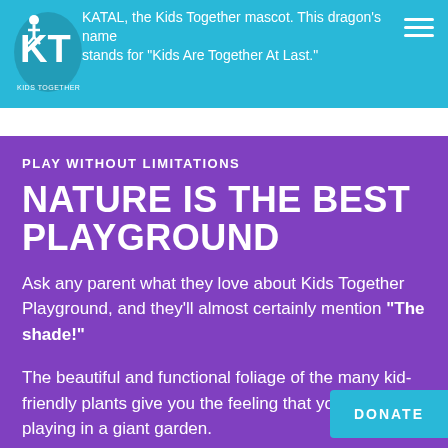KATAL, the Kids Together mascot. This dragon's name stands for 'Kids Are Together At Last.' [Kids Together logo]
PLAY WITHOUT LIMITATIONS
NATURE IS THE BEST PLAYGROUND
Ask any parent what they love about Kids Together Playground, and they'll almost certainly mention "The shade!"
The beautiful and functional foliage of the many kid-friendly plants give you the feeling that your child is playing in a giant garden.
DONATE